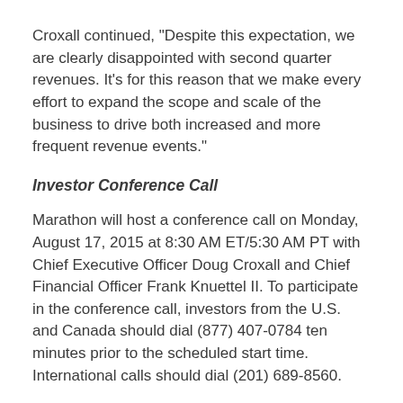Croxall continued, "Despite this expectation, we are clearly disappointed with second quarter revenues. It's for this reason that we make every effort to expand the scope and scale of the business to drive both increased and more frequent revenue events."
Investor Conference Call
Marathon will host a conference call on Monday, August 17, 2015 at 8:30 AM ET/5:30 AM PT with Chief Executive Officer Doug Croxall and Chief Financial Officer Frank Knuettel II. To participate in the conference call, investors from the U.S. and Canada should dial (877) 407-0784 ten minutes prior to the scheduled start time. International calls should dial (201) 689-8560.
In addition, the call will be broadcast live over the Internet and can be accessed through the Investor Relations section of the Company's website at www.marathonpg.com. The broadcast will be archived online upon completion of the conference call. A telephonic replay of the conference call will also be available